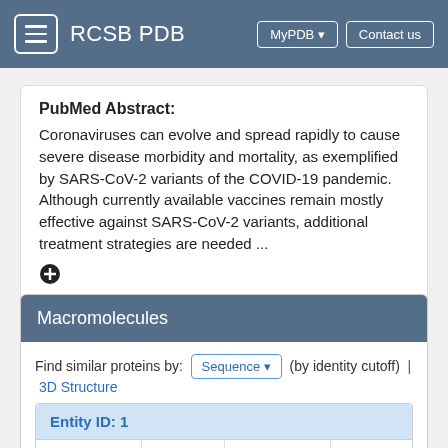RCSB PDB
PubMed Abstract:
Coronaviruses can evolve and spread rapidly to cause severe disease morbidity and mortality, as exemplified by SARS-CoV-2 variants of the COVID-19 pandemic. Although currently available vaccines remain mostly effective against SARS-CoV-2 variants, additional treatment strategies are needed ...
Macromolecules
Find similar proteins by: Sequence (by identity cutoff) | 3D Structure
| Entity ID: 1 |  |  |  |
| --- | --- | --- | --- |
| Molecule | Chains | Sequence Length | Orga |